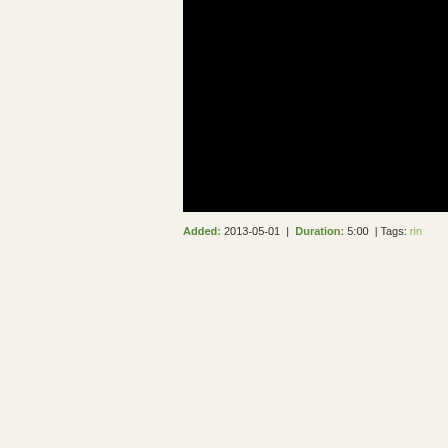[Figure (screenshot): Black video/image thumbnail occupying the right portion of the upper half of the page, cropped at right edge]
Added: 2013-05-01  |  Duration: 5:00  | Tags: rin